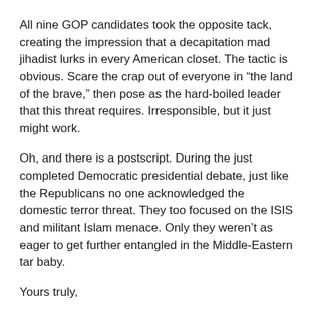All nine GOP candidates took the opposite tack, creating the impression that a decapitation mad jihadist lurks in every American closet. The tactic is obvious. Scare the crap out of everyone in “the land of the brave,” then pose as the hard-boiled leader that this threat requires. Irresponsible, but it just might work.
Oh, and there is a postscript. During the just completed Democratic presidential debate, just like the Republicans no one acknowledged the domestic terror threat. They too focused on the ISIS and militant Islam menace. Only they weren’t as eager to get further entangled in the Middle-Eastern tar baby.
Yours truly,
Gary K. Clabaugh, Ed. D.
Professor Emeritus, La Salle University
NOTES